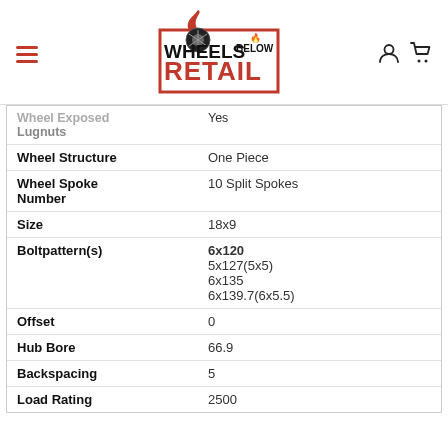[Figure (logo): Wheels Below Retail logo with flame and wheel graphic, red and black]
| Wheel Exposed Lugnuts | Yes |
| Wheel Structure | One Piece |
| Wheel Spoke Number | 10 Split Spokes |
| Size | 18x9 |
| Boltpattern(s) | 6x120
5x127(5x5)
6x135
6x139.7(6x5.5) |
| Offset | 0 |
| Hub Bore | 66.9 |
| Backspacing | 5 |
| Load Rating | 2500 |